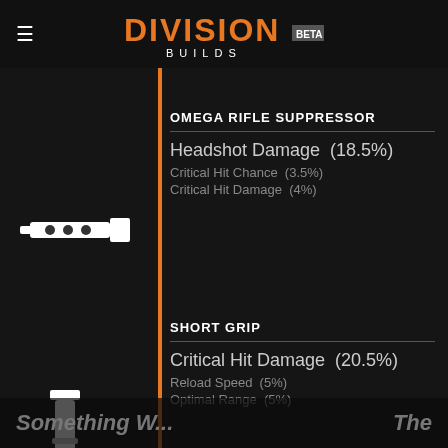DIVISION BUILDS BETA
OMEGA RIFLE SUPPRESSOR
Headshot Damage  (18.5%)
Critical Hit Chance  (3.5%)
Critical Hit Damage  (4%)
SHORT GRIP
Critical Hit Damage  (20.5%)
Reload Speed  (5%)
Optimal Range  (5%)